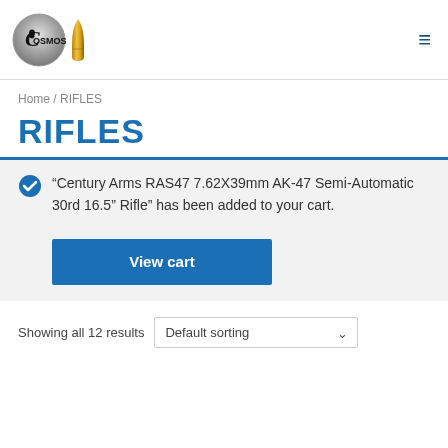[Figure (logo): Cosmos logo with stylized C circle and bullet graphic, and COSMOS text]
Home / RIFLES
RIFLES
“Century Arms RAS47 7.62X39mm AK-47 Semi-Automatic 30rd 16.5” Rifle” has been added to your cart.
View cart
Showing all 12 results
Default sorting